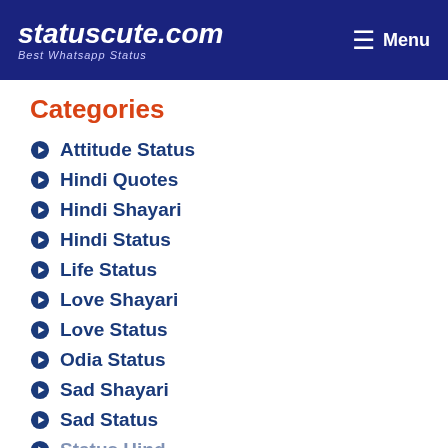statuscute.com — Best Whatsapp Status | Menu
Categories
Attitude Status
Hindi Quotes
Hindi Shayari
Hindi Status
Life Status
Love Shayari
Love Status
Odia Status
Sad Shayari
Sad Status
Status Hind... (partially visible)